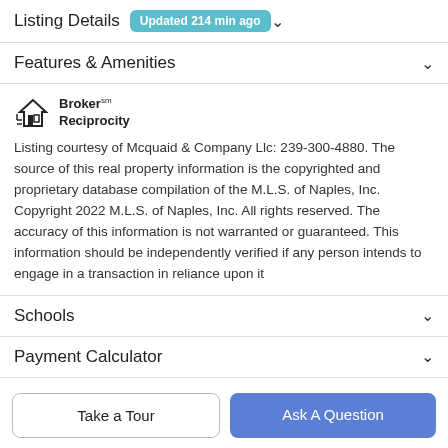Listing Details Updated 214 min ago
Features & Amenities
[Figure (logo): Broker Reciprocity logo with house icon]
Listing courtesy of Mcquaid & Company Llc: 239-300-4880. The source of this real property information is the copyrighted and proprietary database compilation of the M.L.S. of Naples, Inc. Copyright 2022 M.L.S. of Naples, Inc. All rights reserved. The accuracy of this information is not warranted or guaranteed. This information should be independently verified if any person intends to engage in a transaction in reliance upon it
Schools
Payment Calculator
Take a Tour
Ask A Question